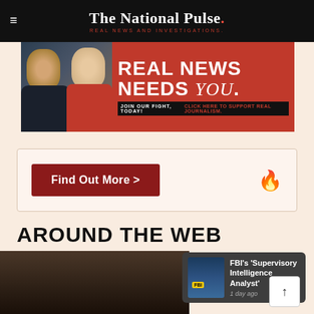The National Pulse. REAL NEWS AND INVESTIGATIONS.
[Figure (photo): Promotional banner ad for The National Pulse showing two people (a man in a suit and a woman in red) with the text 'REAL NEWS NEEDS you.' and 'JOIN OUR FIGHT, TODAY! CLICK HERE TO SUPPORT REAL JOURNALISM.']
[Figure (other): Find Out More button with a flame icon inside a bordered box]
AROUND THE WEB
[Figure (photo): Article teaser showing FBI agents with text: FBI's 'Supervisory Intelligence Analyst' - 1 day ago]
[Figure (photo): Large background photo partially visible at bottom of page showing a dark close-up image]